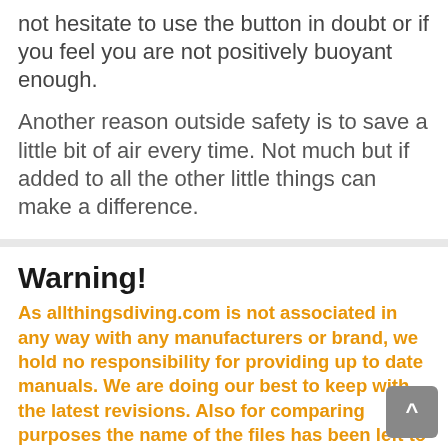not hesitate to use the button in doubt or if you feel you are not positively buoyant enough.
Another reason outside safety is to save a little bit of air every time. Not much but if added to all the other little things can make a difference.
Warning!
As allthingsdiving.com is not associated in any way with any manufacturers or brand, we hold no responsibility for providing up to date manuals. We are doing our best to keep with the latest revisions. Also for comparing purposes the name of the files has been left to its original file name. Sources could have named the files differently.